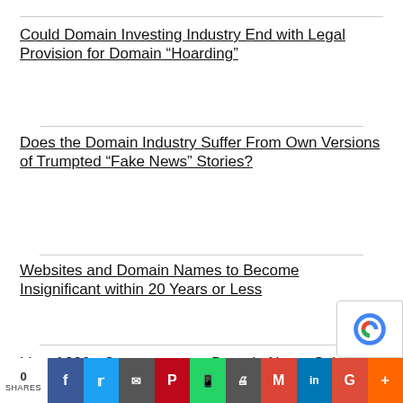Could Domain Investing Industry End with Legal Provision for Domain “Hoarding”
Does the Domain Industry Suffer From Own Versions of Trumpted “Fake News” Stories?
Websites and Domain Names to Become Insignificant within 20 Years or Less
List of 300+ Cryptocurrency Domain Name Sales and Sale Prices [All Time] (Name
0 SHARES | social share buttons: Facebook, Twitter, Email, Pinterest, WhatsApp, Print, Gmail, LinkedIn, Google+, More